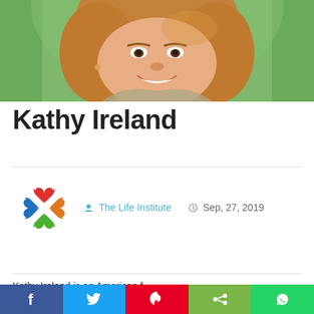[Figure (photo): Portrait photo of Kathy Ireland, a woman with blonde/auburn hair, smiling, green background]
Kathy Ireland
[Figure (logo): The Life Institute logo — colorful interlocking heart and cross shapes in red, green, orange, and blue]
The Life Institute   Sep, 27, 2019
Kathy Ireland is an American f...
[Figure (other): Social share bar with Facebook, Twitter, Pinterest, Share, and WhatsApp buttons]